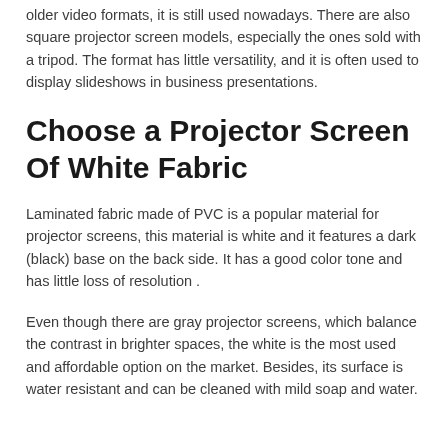older video formats, it is still used nowadays. There are also square projector screen models, especially the ones sold with a tripod. The format has little versatility, and it is often used to display slideshows in business presentations.
Choose a Projector Screen Of White Fabric
Laminated fabric made of PVC is a popular material for projector screens, this material is white and it features a dark (black) base on the back side. It has a good color tone and has little loss of resolution .
Even though there are gray projector screens, which balance the contrast in brighter spaces, the white is the most used and affordable option on the market. Besides, its surface is water resistant and can be cleaned with mild soap and water.